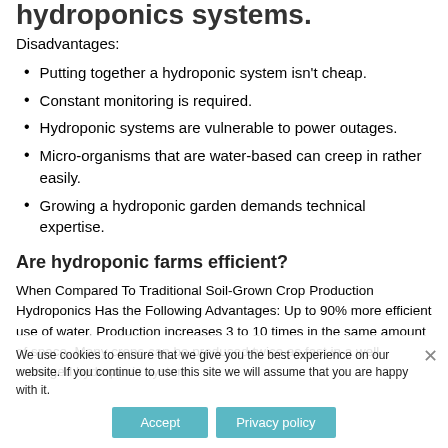hydroponics systems.
Disadvantages:
Putting together a hydroponic system isn't cheap.
Constant monitoring is required.
Hydroponic systems are vulnerable to power outages.
Micro-organisms that are water-based can creep in rather easily.
Growing a hydroponic garden demands technical expertise.
Are hydroponic farms efficient?
When Compared To Traditional Soil-Grown Crop Production Hydroponics Has the Following Advantages: Up to 90% more efficient use of water. Production increases 3 to 10 times in the same amount of space. Many crops can be produced twice as fast in a well managed hydroponic system.
We use cookies to ensure that we give you the best experience on our website. If you continue to use this site we will assume that you are happy with it.